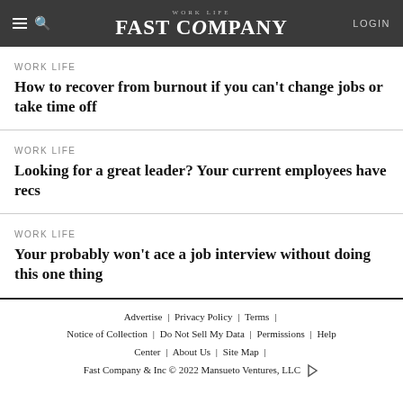WORK LIFE | FAST COMPANY | LOGIN
WORK LIFE
How to recover from burnout if you can't change jobs or take time off
WORK LIFE
Looking for a great leader? Your current employees have recs
WORK LIFE
Your probably won't ace a job interview without doing this one thing
Advertise | Privacy Policy | Terms | Notice of Collection | Do Not Sell My Data | Permissions | Help Center | About Us | Site Map | Fast Company & Inc © 2022 Mansueto Ventures, LLC